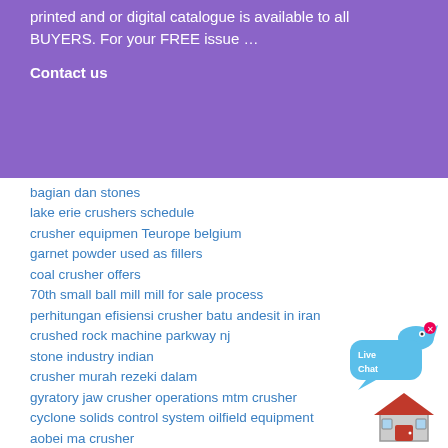printed and or digital catalogue is available to all BUYERS. For your FREE issue …
Contact us
bagian dan stones
lake erie crushers schedule
crusher equipmen Teurope belgium
garnet powder used as fillers
coal crusher offers
70th small ball mill mill for sale process
perhitungan efisiensi crusher batu andesit in iran
crushed rock machine parkway nj
stone industry indian
crusher murah rezeki dalam
gyratory jaw crusher operations mtm crusher
cyclone solids control system oilfield equipment
aobei ma crusher
mobile mobile crusher plan Tequipments
why is coal so important for south africa
[Figure (illustration): Live Chat button with blue speech bubble and fish icon]
[Figure (illustration): House/home icon in red and grey]